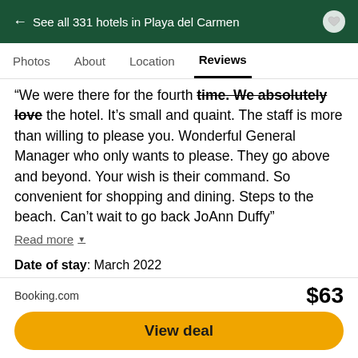← See all 331 hotels in Playa del Carmen
Photos   About   Location   Reviews
"We were there for the fourth time. We absolutely love the hotel. It's small and quaint. The staff is more than willing to please you. Wonderful General Manager who only wants to please. They go above and beyond. Your wish is their command. So convenient for shopping and dining. Steps to the beach. Can't wait to go back JoAnn Duffy"
Read more ▾
Date of stay: March 2022
This review is the subjective opinion of a Tripadvisor member and not of Tripadvisor LLC. Tripadvisor performs checks on reviews.
Booking.com   $63
View deal